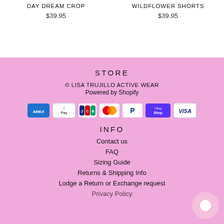DAY DREAM CROP
$39.95
WILDFLOWER SHORTS
$39.95
STORE
© LISA TRUJILLO ACTIVE WEAR
Powered by Shopify
[Figure (other): Payment method icons: American Express, Apple Pay, JCB, Mastercard, PayPal, Shop Pay, Visa]
INFO
Contact us
FAQ
Sizing Guide
Returns & Shipping Info
Lodge a Return or Exchange request
Privacy Policy